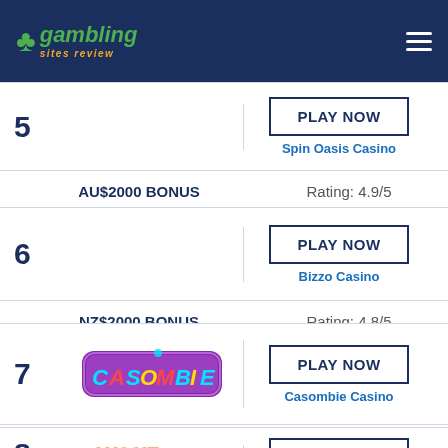gambling sites review
5 — Spin Oasis Casino — AU$2000 BONUS — Rating: 4.9/5 — PLAY NOW
6 — Bizzo Casino — NZ$2000 BONUS — Rating: 4.8/5 — PLAY NOW
7 — Casombie Casino — $1500 BONUS — Rating: 4.8/5 — PLAY NOW
8 — Aussie — PLAY NOW